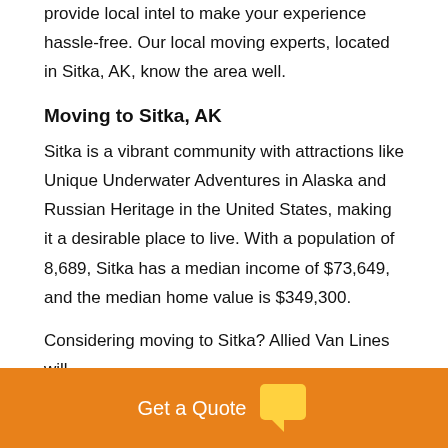provide local intel to make your experience hassle-free. Our local moving experts, located in Sitka, AK, know the area well.
Moving to Sitka, AK
Sitka is a vibrant community with attractions like Unique Underwater Adventures in Alaska and Russian Heritage in the United States, making it a desirable place to live. With a population of 8,689, Sitka has a median income of $73,649, and the median home value is $349,300.
Considering moving to Sitka? Allied Van Lines will
Get a Quote